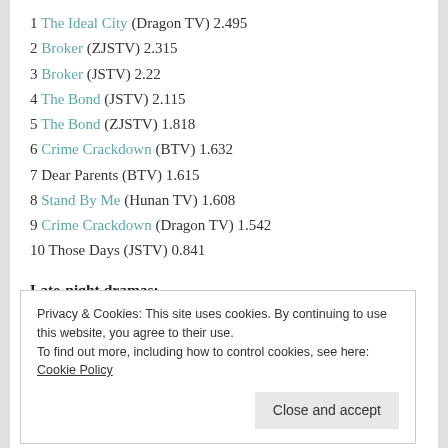1 The Ideal City (Dragon TV) 2.495
2 Broker (ZJSTV) 2.315
3 Broker (JSTV) 2.22
4 The Bond (JSTV) 2.115
5 The Bond (ZJSTV) 1.818
6 Crime Crackdown (BTV) 1.632
7 Dear Parents (BTV) 1.615
8 Stand By Me (Hunan TV) 1.608
9 Crime Crackdown (Dragon TV) 1.542
10 Those Days (JSTV) 0.841
Late-night dramas:
1 Remembrance of Things Past (Hunan TV) 1.11
Privacy & Cookies: This site uses cookies. By continuing to use this website, you agree to their use. To find out more, including how to control cookies, see here: Cookie Policy